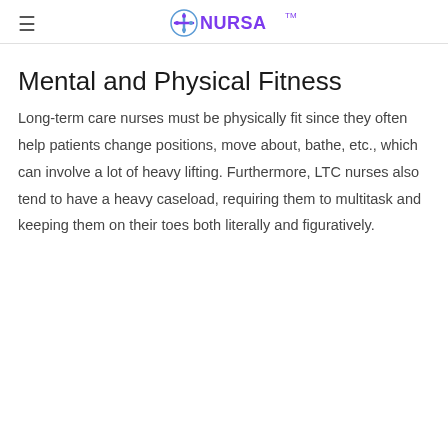NURSA™
Mental and Physical Fitness
Long-term care nurses must be physically fit since they often help patients change positions, move about, bathe, etc., which can involve a lot of heavy lifting. Furthermore, LTC nurses also tend to have a heavy caseload, requiring them to multitask and keeping them on their toes both literally and figuratively.